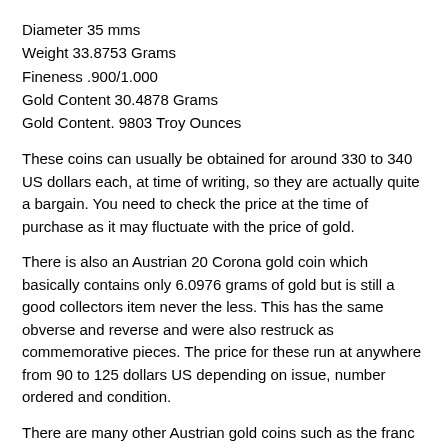Diameter 35 mms
Weight 33.8753 Grams
Fineness .900/1.000
Gold Content 30.4878 Grams
Gold Content. 9803 Troy Ounces
These coins can usually be obtained for around 330 to 340 US dollars each, at time of writing, so they are actually quite a bargain. You need to check the price at the time of purchase as it may fluctuate with the price of gold.
There is also an Austrian 20 Corona gold coin which basically contains only 6.0976 grams of gold but is still a good collectors item never the less. This has the same obverse and reverse and were also restruck as commemorative pieces. The price for these run at anywhere from 90 to 125 dollars US depending on issue, number ordered and condition.
There are many other Austrian gold coins such as the franc and florins and it is a good idea, if you are interested in